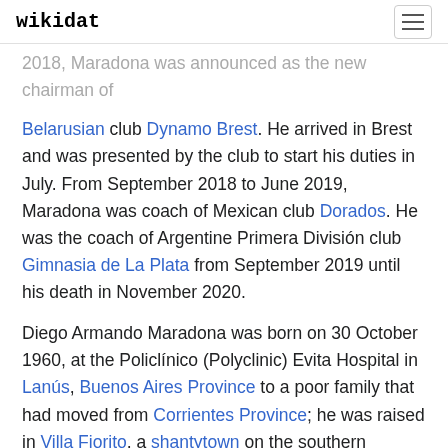wikidat
2018, Maradona was announced as the new chairman of Belarusian club Dynamo Brest. He arrived in Brest and was presented by the club to start his duties in July. From September 2018 to June 2019, Maradona was coach of Mexican club Dorados. He was the coach of Argentine Primera División club Gimnasia de La Plata from September 2019 until his death in November 2020.
Diego Armando Maradona was born on 30 October 1960, at the Policlínico (Polyclinic) Evita Hospital in Lanús, Buenos Aires Province to a poor family that had moved from Corrientes Province; he was raised in Villa Fiorito, a shantytown on the southern outskirts of Buenos Aires, Argentina. He was the first son after four daughters. He has two younger brothers, Hugo (el Turco) and Raúl (Lalo), both of whom were also professional football players. His father Diego Maradona "Chitoro" (1927–2015), who